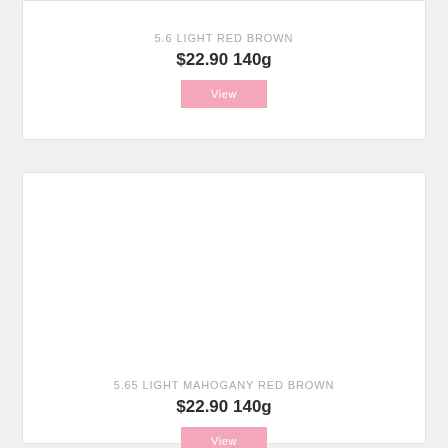5.6 LIGHT RED BROWN
$22.90 140g
View
[Figure (other): Product image area (blank/white) for 5.65 Light Mahogany Red Brown hair color product]
5.65 LIGHT MAHOGANY RED BROWN
$22.90 140g
View